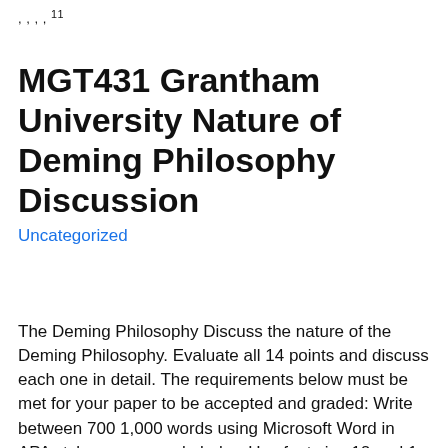, , , , 11
MGT431 Grantham University Nature of Deming Philosophy Discussion
Uncategorized
The Deming Philosophy Discuss the nature of the Deming Philosophy. Evaluate all 14 points and discuss each one in detail. The requirements below must be met for your paper to be accepted and graded: Write between 700 1,000 words using Microsoft Word in APA style, see example below.Use font size 12 and 1 margins.Include cover page and reference page.At least 80% of your paper must be original content/writing.No more than 20% of your content/information may come from references.Use at